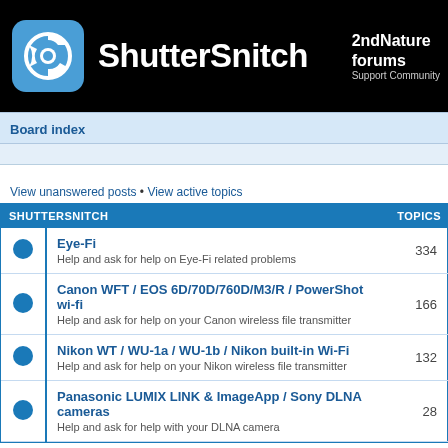ShutterSnitch — 2ndNature forums Support Community
Board index
View unanswered posts • View active topics
| SHUTTERSNITCH | TOPICS |
| --- | --- |
| Eye-Fi
Help and ask for help on Eye-Fi related problems | 334 |
| Canon WFT / EOS 6D/70D/760D/M3/R / PowerShot wi-fi
Help and ask for help on your Canon wireless file transmitter | 166 |
| Nikon WT / WU-1a / WU-1b / Nikon built-in Wi-Fi
Help and ask for help on your Nikon wireless file transmitter | 132 |
| Panasonic LUMIX LINK & ImageApp / Sony DLNA cameras
Help and ask for help with your DLNA camera | 28 |